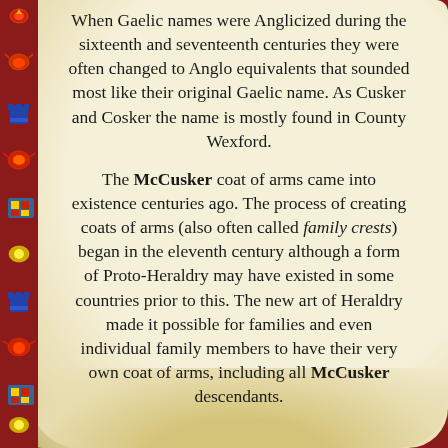When Gaelic names were Anglicized during the sixteenth and seventeenth centuries they were often changed to Anglo equivalents that sounded most like their original Gaelic name. As Cusker and Cosker the name is mostly found in County Wexford.
The McCusker coat of arms came into existence centuries ago. The process of creating coats of arms (also often called family crests) began in the eleventh century although a form of Proto-Heraldry may have existed in some countries prior to this. The new art of Heraldry made it possible for families and even individual family members to have their very own coat of arms, including all McCusker descendants.